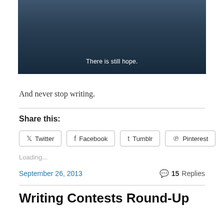[Figure (photo): A dark, blue-tinted photo of a woman with dark hair, with the text overlay 'There is still hope.']
And never stop writing.
Share this:
Twitter  Facebook  Tumblr  Pinterest
Loading...
September 26, 2013   15 Replies
Writing Contests Round-Up